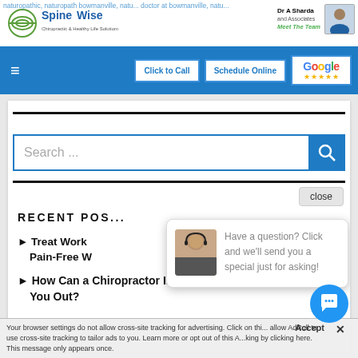[Figure (screenshot): SpineWise logo with green circular icon]
naturopathic, naturopath bowmanville, natu... ...doctor at bowmanville, natu...
Dr A Sharda and Associates
Meet The Team
[Figure (screenshot): Navigation bar with hamburger menu, Click to Call button, Schedule Online button, and Google 5-star rating badge]
[Figure (screenshot): Search bar with Search ... placeholder and blue search button]
close
RECENT POS...
▶ Treat Work... Pain-Free W...
▶ How Can a Chiropractor In Bowmanville Help You Out?
[Figure (screenshot): Chat popup with female avatar and text: Have a question? Click and we'll send you a special just for asking!]
...in a Rather Eas...
Accept
Your browser settings do not allow cross-site tracking for advertising. Click on thi... allow AdRoll to use cross-site tracking to tailor ads to you. Learn more or opt out of this A... king by clicking here. This message only appears once.